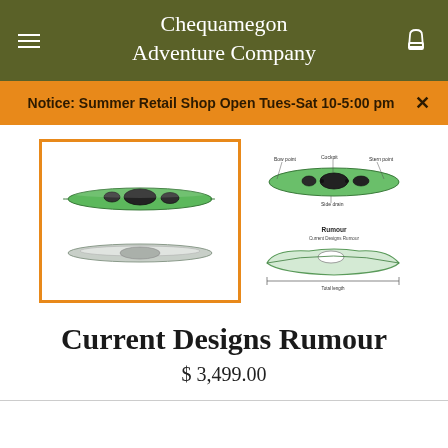Chequamegon Adventure Company
Notice: Summer Retail Shop Open Tues-Sat 10-5:00 pm
[Figure (photo): Two views of a green sea kayak (Current Designs Rumour): side view (top) and bottom/hull view, shown in a main highlighted image frame with orange border.]
[Figure (schematic): Technical diagram of the Current Designs Rumour kayak showing top-down view with labeled parts (bow point, cockpit, stern point, side drain) and a side profile view with dimension annotations labeled 'Rumour'.]
Current Designs Rumour
$ 3,499.00